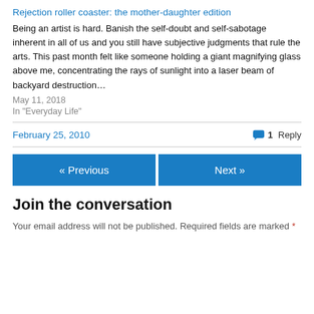Rejection roller coaster: the mother-daughter edition
Being an artist is hard. Banish the self-doubt and self-sabotage inherent in all of us and you still have subjective judgments that rule the arts. This past month felt like someone holding a giant magnifying glass above me, concentrating the rays of sunlight into a laser beam of backyard destruction…
May 11, 2018
In "Everyday Life"
February 25, 2010
1 Reply
« Previous
Next »
Join the conversation
Your email address will not be published. Required fields are marked *